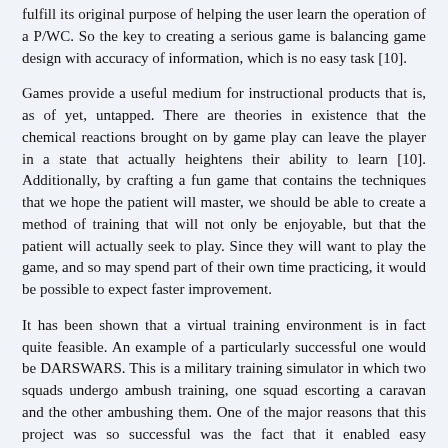fulfill its original purpose of helping the user learn the operation of a P/WC. So the key to creating a serious game is balancing game design with accuracy of information, which is no easy task [10].
Games provide a useful medium for instructional products that is, as of yet, untapped. There are theories in existence that the chemical reactions brought on by game play can leave the player in a state that actually heightens their ability to learn [10]. Additionally, by crafting a fun game that contains the techniques that we hope the patient will master, we should be able to create a method of training that will not only be enjoyable, but that the patient will actually seek to play. Since they will want to play the game, and so may spend part of their own time practicing, it would be possible to expect faster improvement.
It has been shown that a virtual training environment is in fact quite feasible. An example of a particularly successful one would be DARSWARS. This is a military training simulator in which two squads undergo ambush training, one squad escorting a caravan and the other ambushing them. One of the major reasons that this project was so successful was the fact that it enabled easy modification to the game design, allowing for customizable scenarios for each individual squad. This is important since it creates an atmosphere which can adapt to a changing demographic easily [11].